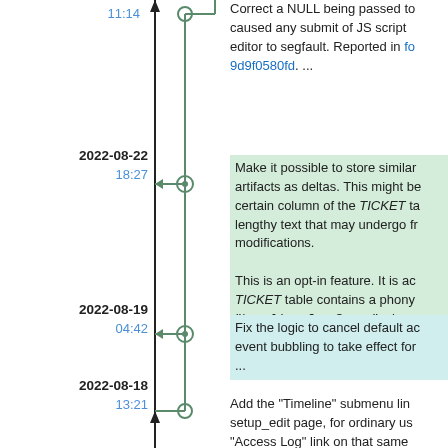Correct a NULL being passed to caused any submit of JS script editor to segfault. Reported in fo 9d9f0580fd. ...
2022-08-22
18:27
Make it possible to store similar artifacts as deltas. This might be certain column of the TICKET table lengthy text that may undergo frequent modifications.

This is an opt-in feature. It is ac TICKET table contains a phony "baseline for $name" where for the name of the actual column the aforementioned frequently c
2022-08-19
04:42
Fix the logic to cancel default action event bubbling to take effect for ...
2022-08-18
13:21
Add the "Timeline" submenu link setup_edit page, for ordinary users. "Access Log" link on that same